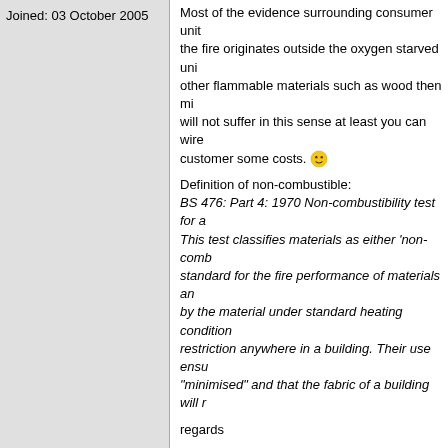Joined: 03 October 2005
Most of the evidence surrounding consumer unit fires suggests the fire originates outside the oxygen starved unit itself, other flammable materials such as wood then migrate. You will not suffer in this sense at least you can wire it and save customer some costs. 🙂
Definition of non-combustible:
BS 476: Part 4: 1970 Non-combustibility test for materials. This test classifies materials as either 'non-comb... standard for the fire performance of materials an... by the material under standard heating condition... restriction anywhere in a building. Their use ensu... "minimised" and that the fabric of a building will r...
regards
--------------------------
"Take nothing but a picture,
leave nothing but footprints!"
--------------------------
"Oh! The drama of it all."
--------------------------
"You can throw all the philosophy you like at the electrical theory!"
--------------------------